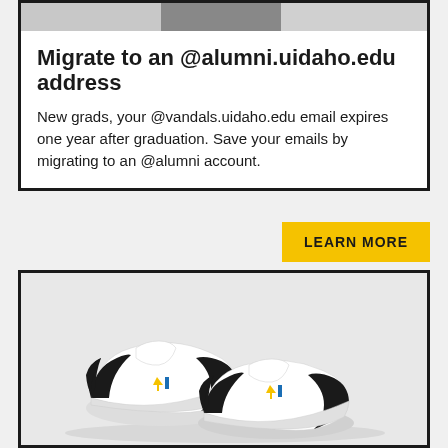[Figure (photo): Partial top image strip showing a graduation or campus scene]
Migrate to an @alumni.uidaho.edu address
New grads, your @vandals.uidaho.edu email expires one year after graduation. Save your emails by migrating to an @alumni account.
LEARN MORE
[Figure (photo): Two small white and black baby sneakers with University of Idaho Vandals logo embroidered on the side, placed on a white/grey surface]